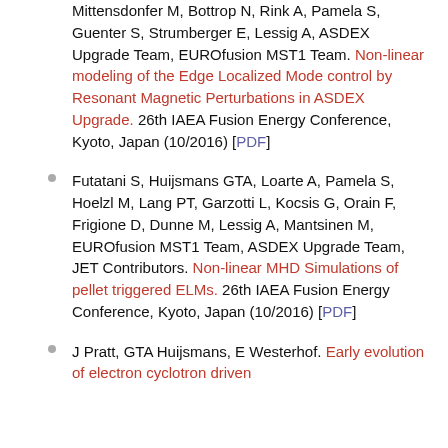Mittensdonfer M, Bottrop N, Rink A, Pamela S, Guenter S, Strumberger E, Lessig A, ASDEX Upgrade Team, EUROfusion MST1 Team. Non-linear modeling of the Edge Localized Mode control by Resonant Magnetic Perturbations in ASDEX Upgrade. 26th IAEA Fusion Energy Conference, Kyoto, Japan (10/2016) [PDF]
Futatani S, Huijsmans GTA, Loarte A, Pamela S, Hoelzl M, Lang PT, Garzotti L, Kocsis G, Orain F, Frigione D, Dunne M, Lessig A, Mantsinen M, EUROfusion MST1 Team, ASDEX Upgrade Team, JET Contributors. Non-linear MHD Simulations of pellet triggered ELMs. 26th IAEA Fusion Energy Conference, Kyoto, Japan (10/2016) [PDF]
J Pratt, GTA Huijsmans, E Westerhof. Early evolution of electron cyclotron driven